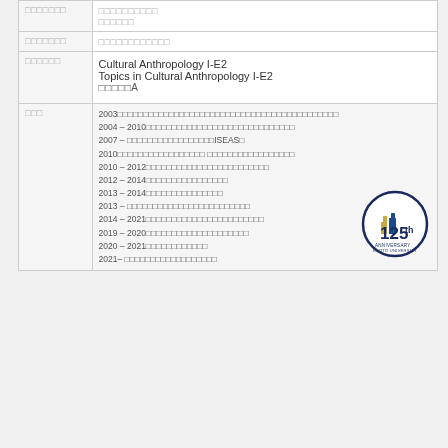|  |  |
| --- | --- |
| □□□□□□□ | □□□□□□□□□□
□□□□□□ |
| □□□□□□□ | □□□□□□□□□□□□ |
| □□□□□□ | Cultural Anthropology I-E2
Topics in Cultural Anthropology I-E2
□□□□□A |
2003□□□□□□□□□□□□□□□□□□□□□□□□□□□□□□□□□□□□□□□□□□□
2004 – 2010□□□□□□□□□□□□□□□□□□□□□□□□□□□□□
2007 – □□□□□□□□□□□□□□□□□ISEAS□
2010□□□□□□□□□□□□□□□□□ □□□□□□□□□□□□□□□□□
2010 – 2012□□□□□□□□□□□□□□□□□□□□□□□□
2012 – 2014□□□□□□□□□□□□□□□□
2013 – 2014□□□□□□□□□□□□□□□
2013 – □□□□□□□□□□□□□□□□□□□□□□□□
2014 – 2021□□□□□□□□□□□□□□□□□□□□□□□
2019 – 2020□□□□□□□□□□□□□□□□□□□□
2020 – 2021□□□□□□□□□□□□
2021– □□□□□□□□□□□□□□□□□□